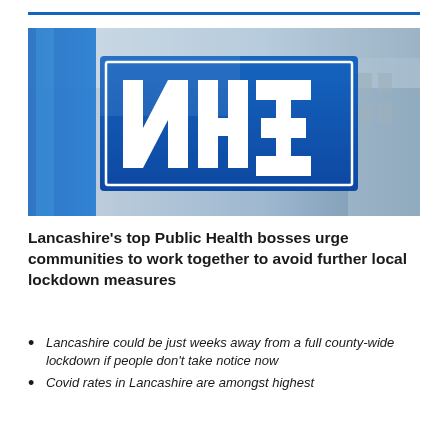[Figure (photo): NHS sign — blue sign with white NHS lettering, photographed at an angle with a blurred background]
Lancashire’s top Public Health bosses urge communities to work together to avoid further local lockdown measures
Lancashire could be just weeks away from a full county-wide lockdown if people don’t take notice now
Covid rates in Lancashire are amongst highest